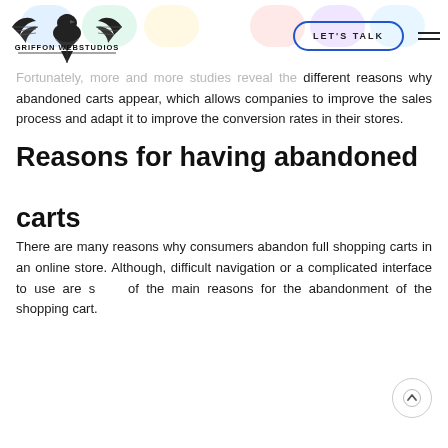[Figure (logo): Griffon Webstudios logo — eagle with spread wings above the text GRIFFON WEBSTUDIOS]
Fortunately, more and more studies reveal the different reasons why abandoned carts appear, which allows companies to improve the sales process and adapt it to improve the conversion rates in their stores.
Reasons for having abandoned carts
There are many reasons why consumers abandon full shopping carts in an online store. Although, difficult navigation or a complicated interface to use are some of the main reasons for the abandonment of the shopping cart.